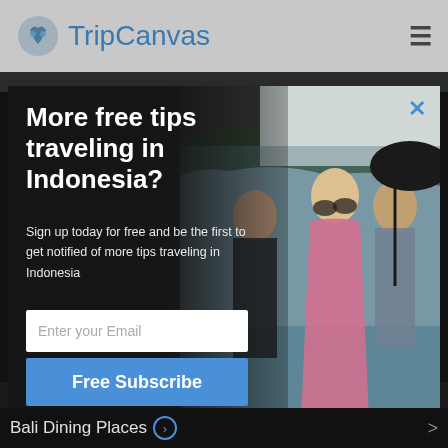TripCanvas
[Figure (screenshot): Modal popup overlay on TripCanvas website with photo of three women traveling in Indonesia, email signup form, Free Subscribe button, and no thanks link]
More free tips traveling in Indonesia?
Sign up today for free and be the first to get notified of more tips traveling in Indonesia
Enter your Email
Free Subscribe
no, thanks
Photography >
SUMO
Bali Dining Places